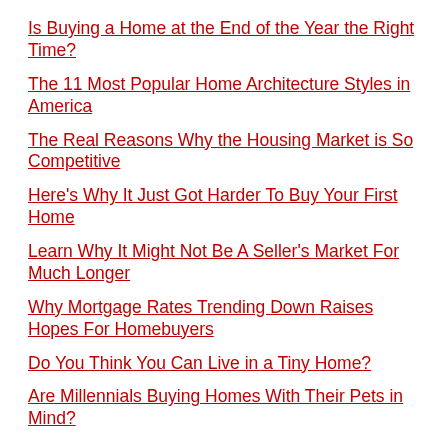Is Buying a Home at the End of the Year the Right Time?
The 11 Most Popular Home Architecture Styles in America
The Real Reasons Why the Housing Market is So Competitive
Here's Why It Just Got Harder To Buy Your First Home
Learn Why It Might Not Be A Seller's Market For Much Longer
Why Mortgage Rates Trending Down Raises Hopes For Homebuyers
Do You Think You Can Live in a Tiny Home?
Are Millennials Buying Homes With Their Pets in Mind?
Buying or Selling a Home